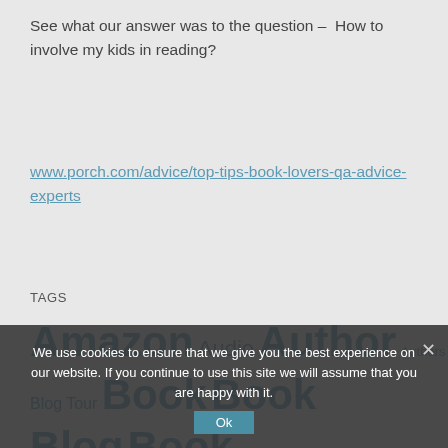See what our answer was to the question – How to involve my kids in reading?
www.porch.com/advice/top-tips-book-lovers-qa-advice-experts
TAGS
Amazon Audio Author Authors Blackwells Blog Tour Book Book Blog Book Blogger Book Review Book Reviewer ... Children... ebook Fiction Five Stars ... Four Star Guest Post hardcover Histor... humour Interview Julie Kindle Life ... Paperback
We use cookies to ensure that we give you the best experience on our website. If you continue to use this site we will assume that you are happy with it.